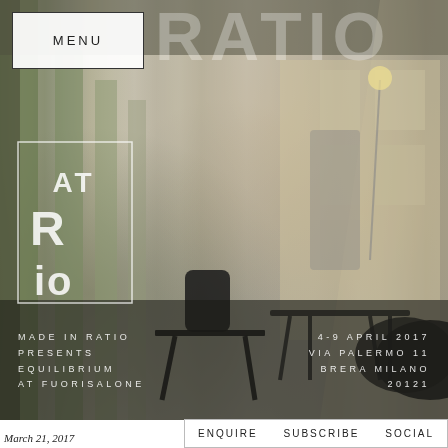[Figure (photo): Interior photo of a long industrial hall with moss-covered columns, large windows letting in light, featuring modern black designer furniture including a chair, table, and lounge chair on a concrete floor. Overlaid with logo and text.]
MENU
AT RATIO
MADE IN RATIO PRESENTS EQUILIBRIUM AT FUORISALONE
4-9 APRIL 2017
VIA PALERMO 11
BRERA MILANO
20121
ENQUIRE   SUBSCRIBE   SOCIAL
March 21, 2017